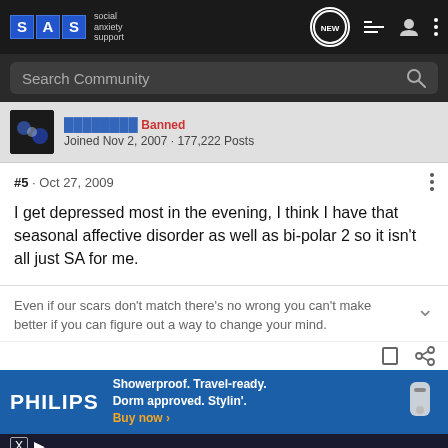[Figure (screenshot): Social Anxiety Support forum header navigation bar with SAS logo, NEW bubble, list icon, user icon, and dots menu]
Search Community
Joined Nov 2, 2007 · 177,222 Posts
#5 · Oct 27, 2009
I get depressed most in the evening, I think I have that seasonal affective disorder as well as bi-polar 2 so it isn't all just SA for me.
Even if our scars don't match there's no wrong you can't make better if you can figure out a way to change your mind.
[Figure (screenshot): Philips advertisement: Showerproof. Travel-ready. Dorm approved. Stylin'. Buy now ›]